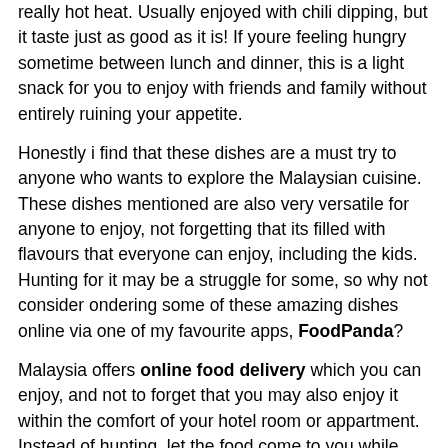really hot heat. Usually enjoyed with chili dipping, but it taste just as good as it is! If youre feeling hungry sometime between lunch and dinner, this is a light snack for you to enjoy with friends and family without entirely ruining your appetite.
Honestly i find that these dishes are a must try to anyone who wants to explore the Malaysian cuisine. These dishes mentioned are also very versatile for anyone to enjoy, not forgetting that its filled with flavours that everyone can enjoy, including the kids. Hunting for it may be a struggle for some, so why not consider ondering some of these amazing dishes online via one of my favourite apps, FoodPanda?
Malaysia offers online food delivery which you can enjoy, and not to forget that you may also enjoy it within the comfort of your hotel room or appartment. Instead of hunting, let the food come to you while you pick your choice of food being safely delivered to your doorstep. So what are you waiting for? If you havent tried any of these dishes listed, its about time that you do! Trust me, a bite of an of these in the list, i can gurantee no regrets! Hope you found this article helpful!